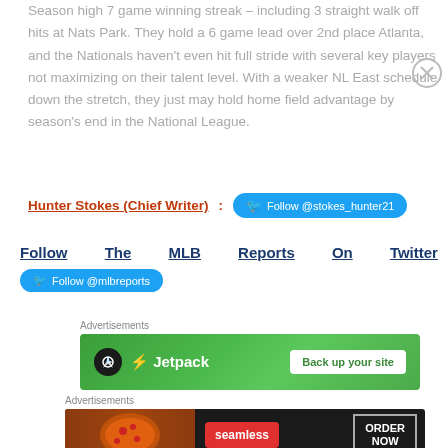Season high 7 game winning streak – including 3 straight walk off hits at Nats Park. They hold a 6 game lead over 2nd place Atlanta, and the Nationals haven't even hit full stride with several key players not maximizing on their talent level. With a weaker NL East schedule down the stretch, they just may hold home field advantage by season's end in the National League.
Hunter Stokes (Chief Writer): Follow @stokes_hunter21
Follow The MLB Reports On Twitter Follow @mlbreports
[Figure (screenshot): Jetpack advertisement banner with green background showing Jetpack logo and 'Back up your site' button]
[Figure (screenshot): Seamless food delivery advertisement with pizza image, Seamless logo, and ORDER NOW button]